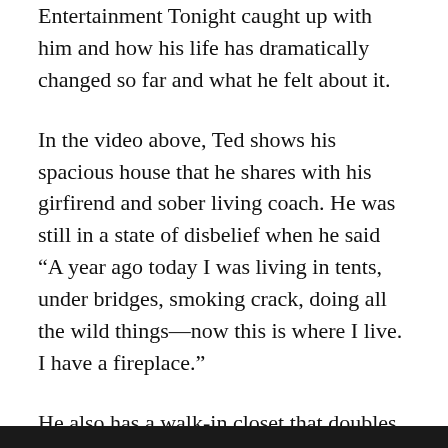Entertainment Tonight caught up with him and how his life has dramatically changed so far and what he felt about it.
In the video above, Ted shows his spacious house that he shares with his girfirend and sober living coach. He was still in a state of disbelief when he said “A year ago today I was living in tents, under bridges, smoking crack, doing all the wild things—now this is where I live. I have a fireplace.”
He also has a walk-in closet that doubles as a recording booth, where he records his spots for his job as the official voice of the New England Cable News.
[Figure (other): Dark horizontal bar at the bottom of the page, likely the top edge of an image or video thumbnail.]